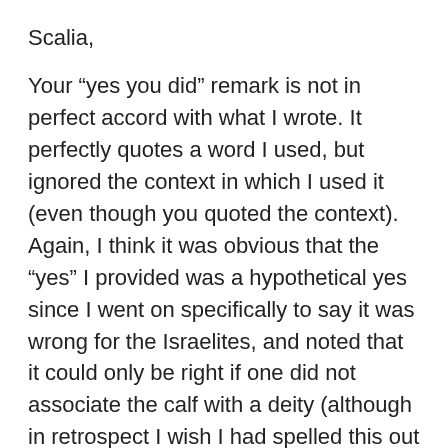Scalia,
Your “yes you did” remark is not in perfect accord with what I wrote. It perfectly quotes a word I used, but ignored the context in which I used it (even though you quoted the context). Again, I think it was obvious that the “yes” I provided was a hypothetical yes since I went on specifically to say it was wrong for the Israelites, and noted that it could only be right if one did not associate the calf with a deity (although in retrospect I wish I had spelled this out so we could have avoided this). That is something that we can do in our historical, cultural, and religious context, but not something the Israelites could do given their historical, cultural, and religious